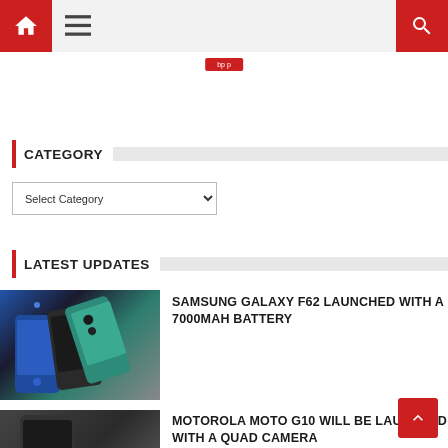Navigation header with home icon, menu icon, and search icon
CATEGORY
Select Category
LATEST UPDATES
[Figure (photo): Samsung Galaxy F62 smartphones in blue, black, and green/teal colors shown from the back]
SAMSUNG GALAXY F62 LAUNCHED WITH A 7000MAH BATTERY
[Figure (photo): Motorola Moto G10 smartphone in dark color shown from the back]
MOTOROLA MOTO G10 WILL BE LAUNCHED WITH A QUAD CAMERA